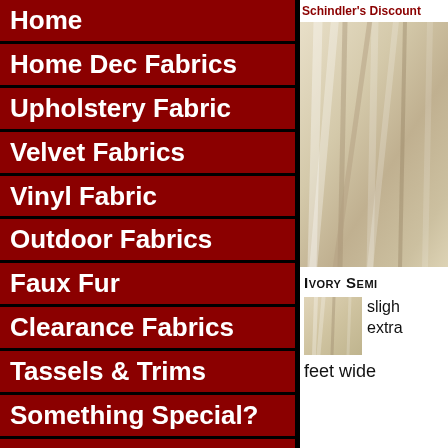Home
Home Dec Fabrics
Upholstery Fabric
Velvet Fabrics
Vinyl Fabric
Outdoor Fabrics
Faux Fur
Clearance Fabrics
Tassels & Trims
Something Special?
Schindler's Discount
[Figure (photo): Close-up photo of ivory/cream semi-sheer fabric with draped folds]
Ivory Semi
[Figure (photo): Small thumbnail of ivory fabric texture]
sligh extra
feet wide